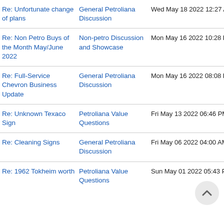| Title | Forum | Date |
| --- | --- | --- |
| Re: Unfortunate change of plans | General Petroliana Discussion | Wed May 18 2022 12:27 AM |
| Re: Non Petro Buys of the Month May/June 2022 | Non-petro Discussion and Showcase | Mon May 16 2022 10:28 PM |
| Re: Full-Service Chevron Business Update | General Petroliana Discussion | Mon May 16 2022 08:08 PM |
| Re: Unknown Texaco Sign | Petroliana Value Questions | Fri May 13 2022 06:46 PM |
| Re: Cleaning Signs | General Petroliana Discussion | Fri May 06 2022 04:00 AM |
| Re: 1962 Tokheim worth | Petroliana Value Questions | Sun May 01 2022 05:43 PM |